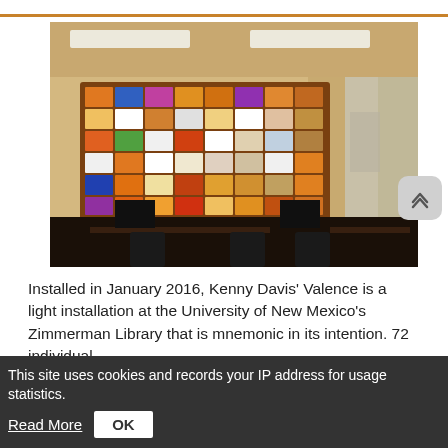[Figure (photo): Interior photo of the University of New Mexico Zimmerman Library showing Kenny Davis' Valence light installation — a large wall-mounted grid of colorful illuminated glass panels in orange, blue, purple, white, and other colors, with computer workstations and chairs in the foreground.]
Installed in January 2016, Kenny Davis' Valence is a light installation at the University of New Mexico's Zimmerman Library that is mnemonic in its intention. 72 individual
This site uses cookies and records your IP address for usage statistics.
Read More
OK